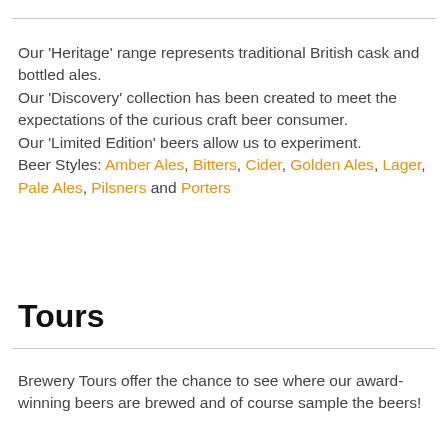Our 'Heritage' range represents traditional British cask and bottled ales. Our 'Discovery' collection has been created to meet the expectations of the curious craft beer consumer. Our 'Limited Edition' beers allow us to experiment. Beer Styles: Amber Ales, Bitters, Cider, Golden Ales, Lager, Pale Ales, Pilsners and Porters
Tours
Brewery Tours offer the chance to see where our award-winning beers are brewed and of course sample the beers!